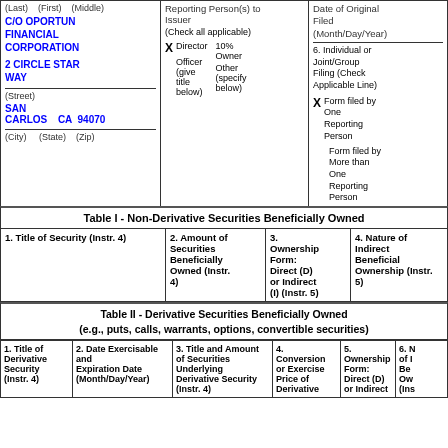(Last)  (First)  (Middle)
C/O OPORTUN FINANCIAL CORPORATION
2 CIRCLE STAR WAY
(Street)
SAN CARLOS  CA  94070
(City)  (State)  (Zip)
Reporting Person(s) to Issuer
(Check all applicable)
X Director  10% Owner
Officer (give title below)  Other (specify below)
Date of Original Filed
(Month/Day/Year)
6. Individual or Joint/Group Filing (Check Applicable Line)
X Form filed by One Reporting Person
Form filed by More than One Reporting Person
| Table I - Non-Derivative Securities Beneficially Owned |
| --- |
| 1. Title of Security (Instr. 4) | 2. Amount of Securities Beneficially Owned (Instr. 4) | 3. Ownership Form: Direct (D) or Indirect (I) (Instr. 5) | 4. Nature of Indirect Beneficial Ownership (Instr. 5) |
| --- | --- | --- | --- |
| Table II - Derivative Securities Beneficially Owned (e.g., puts, calls, warrants, options, convertible securities) |
| --- |
| 1. Title of Derivative Security (Instr. 4) | 2. Date Exercisable and Expiration Date (Month/Day/Year) | 3. Title and Amount of Securities Underlying Derivative Security (Instr. 4) | 4. Conversion or Exercise Price of Derivative | 5. Ownership Form: Direct (D) or Indirect | 6. Nature of Indirect Beneficial Ownership (Instr. |
| --- | --- | --- | --- | --- | --- |